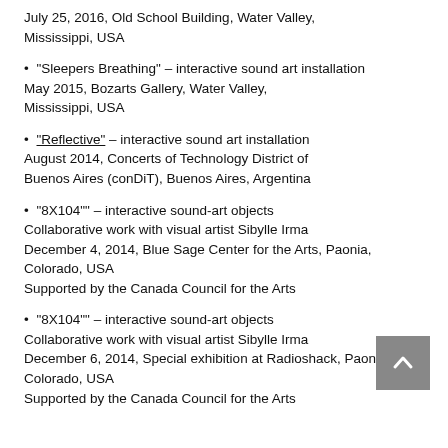July 25, 2016, Old School Building, Water Valley, Mississippi, USA
"Sleepers Breathing" – interactive sound art installation
May 2015, Bozarts Gallery, Water Valley, Mississippi, USA
"Reflective" – interactive sound art installation
August 2014, Concerts of Technology District of Buenos Aires (conDiT), Buenos Aires, Argentina
"8X104"" – interactive sound-art objects
Collaborative work with visual artist Sibylle Irma
December 4, 2014, Blue Sage Center for the Arts, Paonia, Colorado, USA
Supported by the Canada Council for the Arts
"8X104"" – interactive sound-art objects
Collaborative work with visual artist Sibylle Irma
December 6, 2014, Special exhibition at Radioshack, Paonia, Colorado, USA
Supported by the Canada Council for the Arts